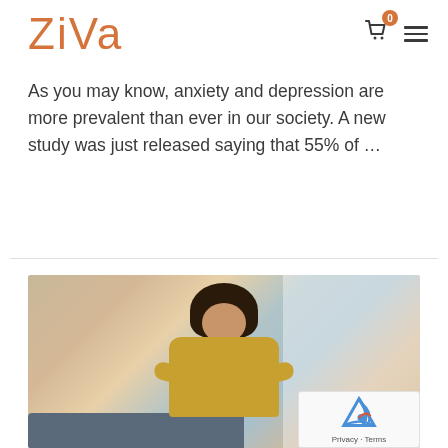ZIVA
As you may know, anxiety and depression are more prevalent than ever in our society. A new study was just released saying that 55% of …
Read More
[Figure (photo): Woman with curly hair wearing a yellow blouse, sitting cross-legged on a sofa in a meditation pose with eyes closed, in a bright indoor setting.]